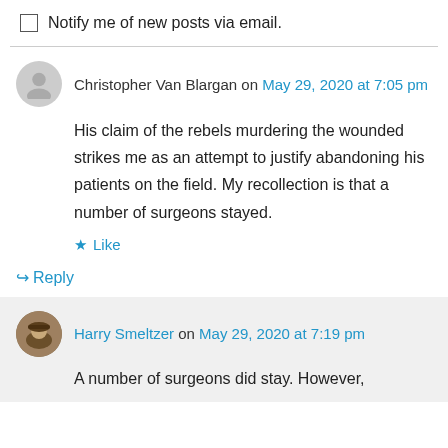Notify me of new posts via email.
Christopher Van Blargan on May 29, 2020 at 7:05 pm
His claim of the rebels murdering the wounded strikes me as an attempt to justify abandoning his patients on the field. My recollection is that a number of surgeons stayed.
Like
Reply
Harry Smeltzer on May 29, 2020 at 7:19 pm
A number of surgeons did stay. However,